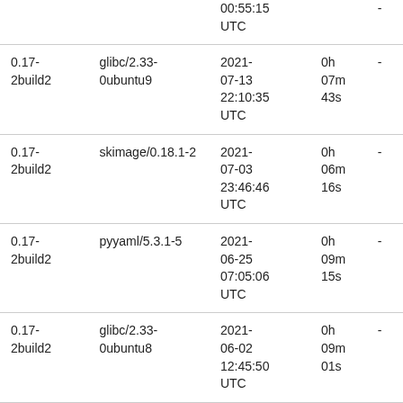| Version | Package | Date | Duration |  |
| --- | --- | --- | --- | --- |
|  |  | 00:55:15 UTC |  | - |
| 0.17-2build2 | glibc/2.33-0ubuntu9 | 2021-07-13 22:10:35 UTC | 0h 07m 43s | - |
| 0.17-2build2 | skimage/0.18.1-2 | 2021-07-03 23:46:46 UTC | 0h 06m 16s | - |
| 0.17-2build2 | pyyaml/5.3.1-5 | 2021-06-25 07:05:06 UTC | 0h 09m 15s | - |
| 0.17-2build2 | glibc/2.33-0ubuntu8 | 2021-06-02 12:45:50 UTC | 0h 09m 01s | - |
| 0.17- | pydantic/1.7.4-1 | 2021- | 0h 06m | - |